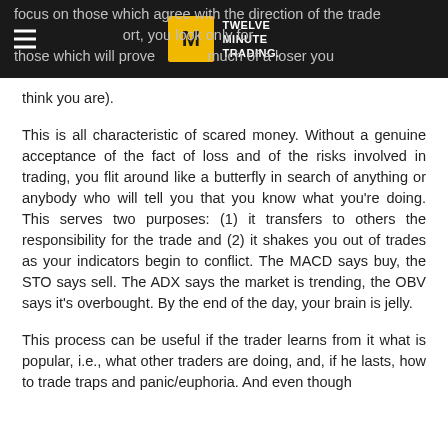focus on those which agree with the direction of the trade you've taken (or, if you're short, you look only for those which will prove to you how much of a loser you think you are).
think you are).
This is all characteristic of scared money. Without a genuine acceptance of the fact of loss and of the risks involved in trading, you flit around like a butterfly in search of anything or anybody who will tell you that you know what you're doing. This serves two purposes: (1) it transfers to others the responsibility for the trade and (2) it shakes you out of trades as your indicators begin to conflict. The MACD says buy, the STO says sell. The ADX says the market is trending, the OBV says it's overbought. By the end of the day, your brain is jelly.
This process can be useful if the trader learns from it what is popular, i.e., what other traders are doing, and, if he lasts, how to trade traps and panic/euphoria. And even though